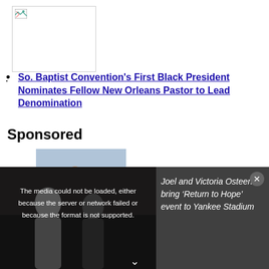[Figure (photo): Broken/placeholder thumbnail image with border]
So. Baptist Convention's First Black President Nominates Fellow New Orleans Pastor to Lead Denomination
Sponsored
[Figure (photo): Family with dog, sponsored content thumbnail]
[Figure (screenshot): Video overlay bar with error message: The media could not be loaded, either because the server or network failed or because the format is not supported. Overlay text on right: Joel and Victoria Osteen bring 'Return to Hope' event to Yankee Stadium]